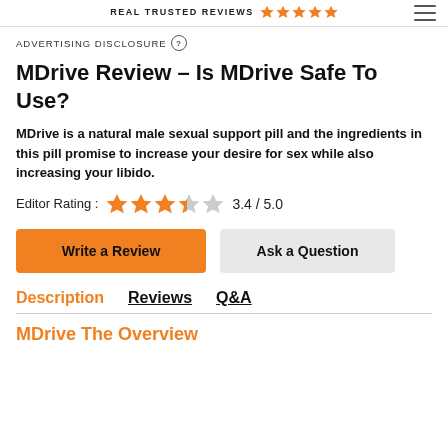REAL TRUSTED REVIEWS ★★★★★
ADVERTISING DISCLOSURE ?
MDrive Review – Is MDrive Safe To Use?
MDrive is a natural male sexual support pill and the ingredients in this pill promise to increase your desire for sex while also increasing your libido.
Editor Rating : 3.4 / 5.0
Write a Review
Ask a Question
Description  Reviews  Q&A
MDrive The Overview